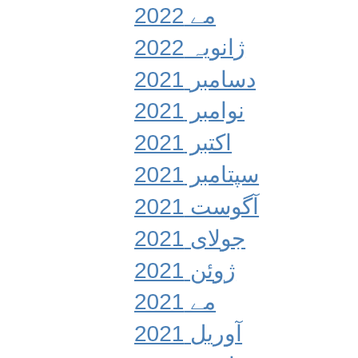مے 2022
ژانویہ 2022
دسامبر 2021
نوامبر 2021
اکتبر 2021
سپتامبر 2021
آگوست 2021
جولای 2021
ژوئن 2021
مے 2021
آوریل 2021
مارس 2021
فوریه 2021
ژانویه 2021